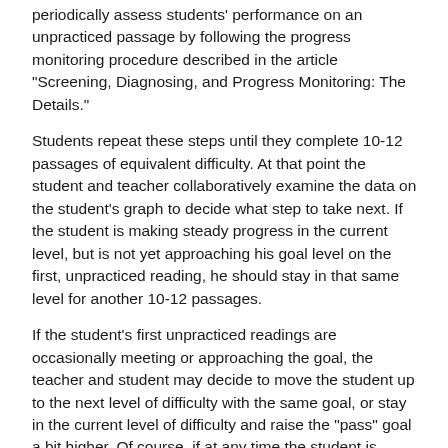periodically assess students' performance on an unpracticed passage by following the progress monitoring procedure described in the article "Screening, Diagnosing, and Progress Monitoring: The Details."
Students repeat these steps until they complete 10-12 passages of equivalent difficulty. At that point the student and teacher collaboratively examine the data on the student's graph to decide what step to take next. If the student is making steady progress in the current level, but is not yet approaching his goal level on the first, unpracticed reading, he should stay in that same level for another 10-12 passages.
If the student's first unpracticed readings are occasionally meeting or approaching the goal, the teacher and student may decide to move the student up to the next level of difficulty with the same goal, or stay in the current level of difficulty and raise the "pass" goal a bit higher. Of course, if at any time the student is having difficulty reading at the goal level after the practice readings, the decision can be made to move the student down to an easier level or make a downward adjustment in the WCPM goal.